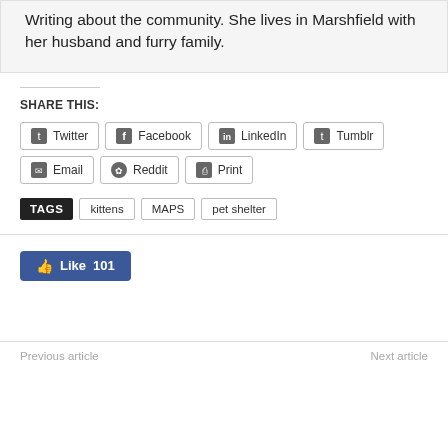Writing about the community. She lives in Marshfield with her husband and furry family.
SHARE THIS:
Twitter
Facebook
LinkedIn
Tumblr
Email
Reddit
Print
TAGS kittens MAPS pet shelter
Like 101
Previous article
Next article